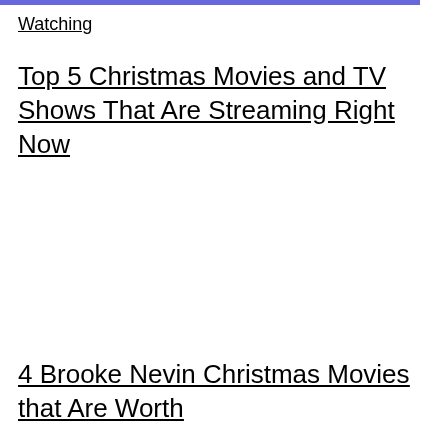Watching
Top 5 Christmas Movies and TV Shows That Are Streaming Right Now
4 Brooke Nevin Christmas Movies that Are Worth